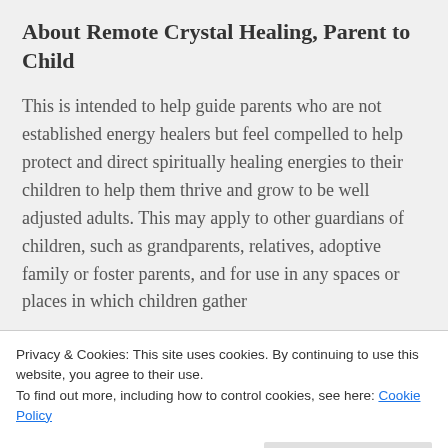About Remote Crystal Healing, Parent to Child
This is intended to help guide parents who are not established energy healers but feel compelled to help protect and direct spiritually healing energies to their children to help them thrive and grow to be well adjusted adults. This may apply to other guardians of children, such as grandparents, relatives, adoptive family or foster parents, and for use in any spaces or places in which children gather
Privacy & Cookies: This site uses cookies. By continuing to use this website, you agree to their use.
To find out more, including how to control cookies, see here: Cookie Policy
Close and accept
to protect and support your children, those unique